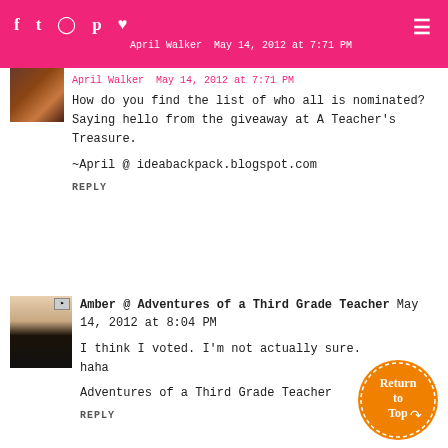f  t  [instagram]  p  [heart]                                  April Walker  May 14, 2012 at 7:71 PM
How do you find the list of who all is nominated? Saying hello from the giveaway at A Teacher's Treasure.
~April @ ideabackpack.blogspot.com
REPLY
Amber @ Adventures of a Third Grade Teacher  May 14, 2012 at 8:04 PM
I think I voted. I'm not actually sure.
haha
Adventures of a Third Grade Teacher
REPLY
[Figure (illustration): Orange circle button with white text reading 'Return to Top' with dotted border arrow]